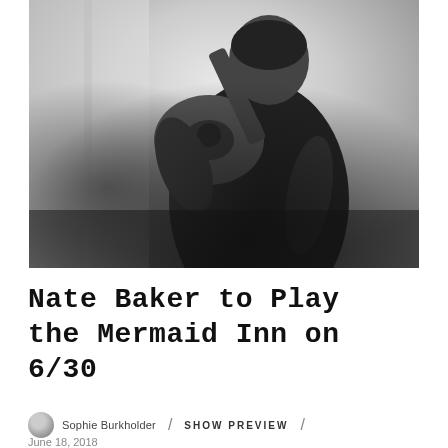[Figure (photo): Black and white photograph of a man in a dark denim shirt holding an acoustic guitar over his shoulder, standing in front of a window with bright light behind him.]
Nate Baker to Play the Mermaid Inn on 6/30
Sophie Burkholder / SHOW PREVIEW /
June 18, 2018